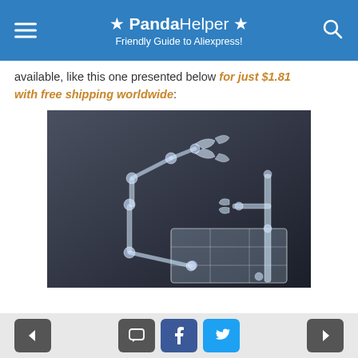★ PandaHelper ★ Friendly Guide to Aliexpress!
available, like this one presented below for just $1.81 with free shipping worldwide:
[Figure (photo): Photo of a clear acrylic/plastic action figure display stand with articulated arms and clamp holders, on a dark background.]
Navigation bar with back, comment, share (Facebook), share (Twitter), and forward buttons